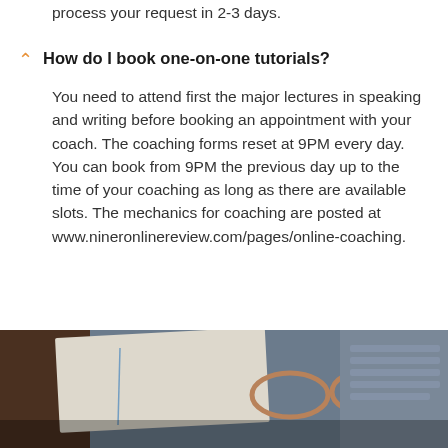process your request in 2-3 days.
How do I book one-on-one tutorials?
You need to attend first the major lectures in speaking and writing before booking an appointment with your coach. The coaching forms reset at 9PM every day. You can book from 9PM the previous day up to the time of your coaching as long as there are available slots. The mechanics for coaching are posted at www.nineronlinereview.com/pages/online-coaching.
[Figure (photo): Photo of a desk with papers, eyeglasses, and a laptop keyboard in the background]